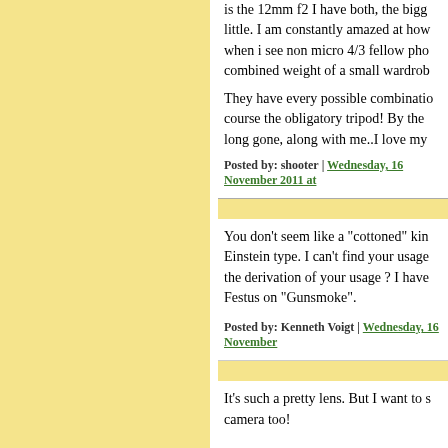is the 12mm f2 I have both, the bigg little. I am constantly amazed at how when i see non micro 4/3 fellow pho combined weight of a small wardrob
They have every possible combinatio course the obligatory tripod! By the long gone, along with me..I love my
Posted by: shooter | Wednesday, 16 November 2011 at
You don't seem like a "cottoned" kin Einstein type. I can't find your usage the derivation of your usage ? I have Festus on "Gunsmoke".
Posted by: Kenneth Voigt | Wednesday, 16 November
It's such a pretty lens. But I want to s camera too!